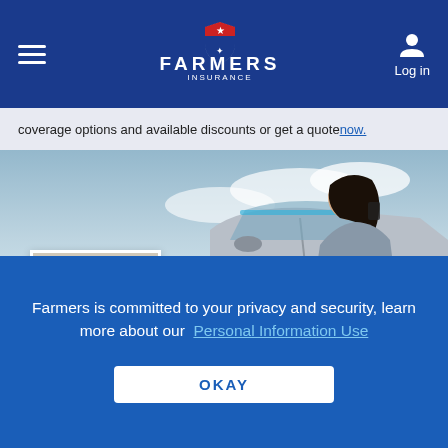Farmers Insurance — Log in
coverage options and available discounts or get a quote now.
[Figure (photo): Hero image showing a woman leaning on a car and talking on a phone, with a cloudy sky background.]
[Figure (photo): Headshot photo of Cesar Monge, a smiling man in a dark suit and blue tie.]
CESAR MONGE
Auto Insurance Agent in Nogales, AZ
GET A QUOTE
Farmers is committed to your privacy and security, learn more about our Personal Information Use
OKAY